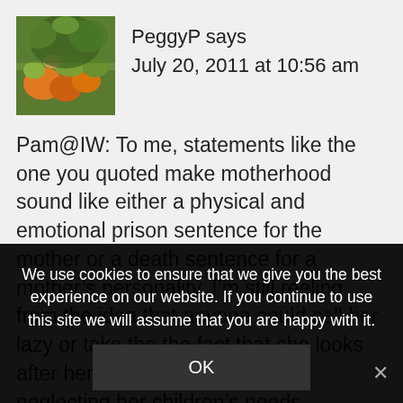[Figure (photo): Avatar image of PeggyP - autumn/harvest themed photo with oranges and foliage]
PeggyP says
July 20, 2011 at 10:56 am
Pam@IW: To me, statements like the one you quoted make motherhood sound like either a physical and emotional prison sentence for the mother or a death sentence for a mother’s personality. I’m still reeling from the idea that anyone could call her lazy or take the the fact that she looks after herself to mean that she’s neglecting her children’s needs.
We use cookies to ensure that we give you the best experience on our website. If you continue to use this site we will assume that you are happy with it.